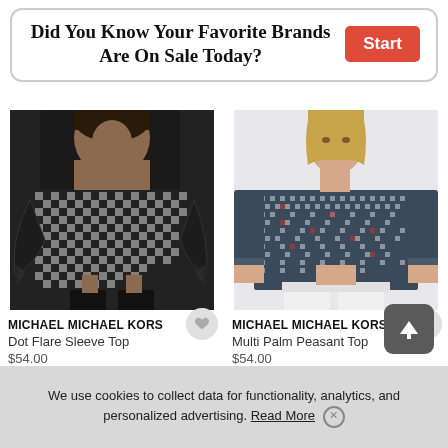Did You Know Your Favorite Brands Are On Sale Today?
[Figure (photo): Woman wearing a black and white checkered dot flare sleeve top with black leather pants]
[Figure (photo): Woman wearing a navy multi palm peasant top with white jeans]
MICHAEL MICHAEL KORS
Dot Flare Sleeve Top
MICHAEL MICHAEL KORS
Multi Palm Peasant Top
We use cookies to collect data for functionality, analytics, and personalized advertising. Read More